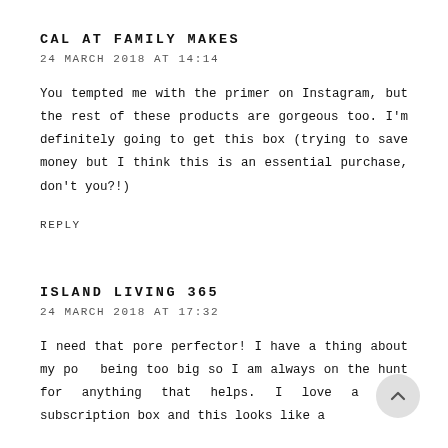CAL AT FAMILY MAKES
24 MARCH 2018 AT 14:14
You tempted me with the primer on Instagram, but the rest of these products are gorgeous too. I'm definitely going to get this box (trying to save money but I think this is an essential purchase, don't you?!)
REPLY
ISLAND LIVING 365
24 MARCH 2018 AT 17:32
I need that pore perfector! I have a thing about my pores being too big so I am always on the hunt for anything that helps. I love a good subscription box and this looks like a